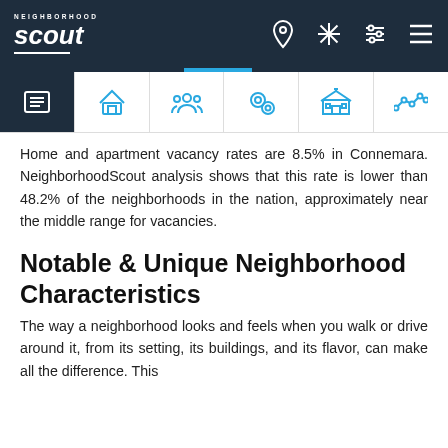Neighborhood Scout - navigation header
Home and apartment vacancy rates are 8.5% in Connemara. NeighborhoodScout analysis shows that this rate is lower than 48.2% of the neighborhoods in the nation, approximately near the middle range for vacancies.
Notable & Unique Neighborhood Characteristics
The way a neighborhood looks and feels when you walk or drive around it, from its setting, its buildings, and its flavor, can make all the difference. This